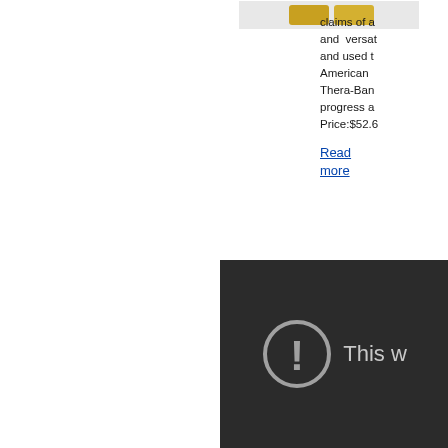[Figure (photo): Partial product image showing a yellow/gold item, cropped at top of page]
claims of a and versat and used t American Thera-Ban progress a Price:$52.6
Read more
[Figure (screenshot): Dark panel with error icon (exclamation mark in circle) and partial text 'This w' indicating a video or web content error message]